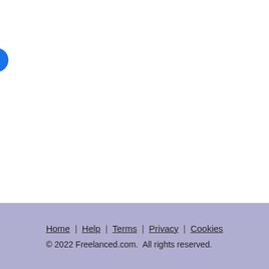from an e-commerce Design/Print solution works, Complete Use purposes, look-and-f delivered comprehen such as brochures, p Complete Multimedia seeing how the piece Visualization and De presentation, Corpor presentation. Syspro Commissioning Engi panels testing and co Responsible and stro Communicating. · Pr Page layout design - Photoshop, Adobe Ill (Exploring this RIA to Media 100, Adobe Ac CSS, ASP Tweaking, (Electrical and electro Art
Madras, Tamil Nadu,
Home | Help | Terms | Privacy | Cookies
© 2022 Freelanced.com.  All rights reserved.